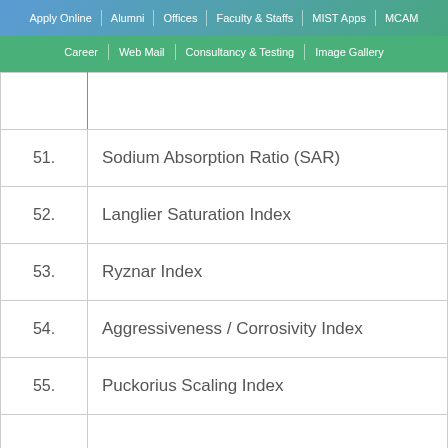Apply Online | Alumni | Offices | Faculty & Staffs | MIST Apps | MCAM | Career | Web Mail | Consultancy & Testing | Image Gallery
|  |  |
| 51. | Sodium Absorption Ratio (SAR) |
| 52. | Langlier Saturation Index |
| 53. | Ryznar Index |
| 54. | Aggressiveness / Corrosivity Index |
| 55. | Puckorius Scaling Index |
|  |  |